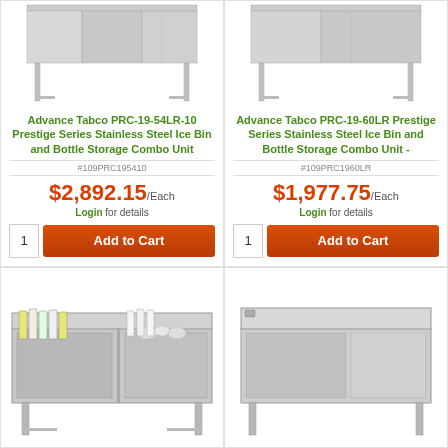[Figure (photo): Advance Tabco PRC-19-54LR-10 stainless steel ice bin and bottle storage combo unit product image]
Advance Tabco PRC-19-54LR-10 Prestige Series Stainless Steel Ice Bin and Bottle Storage Combo Unit
#109PRC195410
$2,892.15/Each
Login for details
Add to Cart
[Figure (photo): Advance Tabco PRC-19-60LR stainless steel ice bin and bottle storage combo unit product image]
Advance Tabco PRC-19-60LR Prestige Series Stainless Steel Ice Bin and Bottle Storage Combo Unit -
#109PRC1960LR
$1,977.75/Each
Login for details
Add to Cart
[Figure (photo): Stainless steel ice bin with bottle storage and speed rail, showing bottles and supplies stored in compartments]
[Figure (photo): Stainless steel ice bin and bottle storage combo unit with backsplash, right side view]